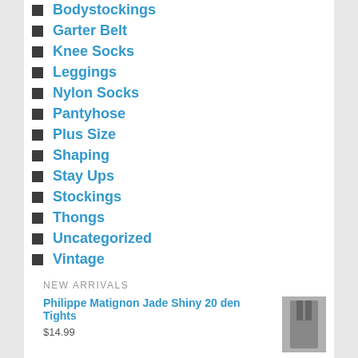Bodystockings
Garter Belt
Knee Socks
Leggings
Nylon Socks
Pantyhose
Plus Size
Shaping
Stay Ups
Stockings
Thongs
Uncategorized
Vintage
NEW ARRIVALS
Philippe Matignon Jade Shiny 20 den Tights
$14.99
Philippe Matignon Dorella Shiny 40 den Tights
$14.99
Cecilia de Rafael Vidrio Crotchless Tights XXL